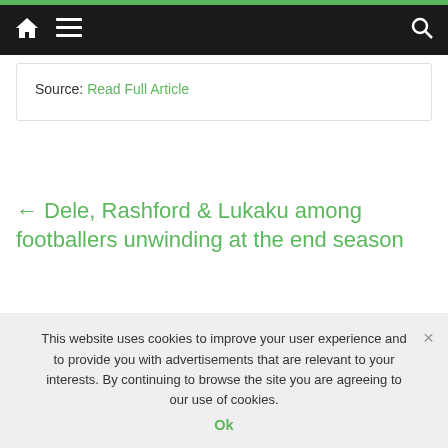Navigation bar with home icon, menu icon, and search icon
Source: Read Full Article
← Dele, Rashford & Lukaku among footballers unwinding at the end season
Manchester United and Bayern Munich 'interested in Denzel Dumfries' →
This website uses cookies to improve your user experience and to provide you with advertisements that are relevant to your interests. By continuing to browse the site you are agreeing to our use of cookies.
Ok